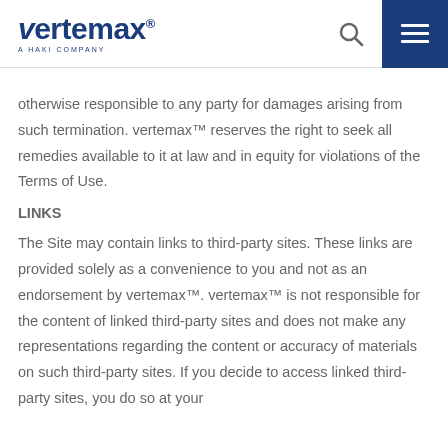vertemax™ A HAKI COMPANY
otherwise responsible to any party for damages arising from such termination. vertemax™ reserves the right to seek all remedies available to it at law and in equity for violations of the Terms of Use.
LINKS
The Site may contain links to third-party sites. These links are provided solely as a convenience to you and not as an endorsement by vertemax™. vertemax™ is not responsible for the content of linked third-party sites and does not make any representations regarding the content or accuracy of materials on such third-party sites. If you decide to access linked third-party sites, you do so at your